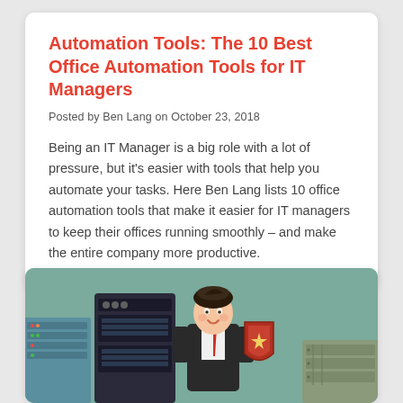Automation Tools: The 10 Best Office Automation Tools for IT Managers
Posted by Ben Lang on October 23, 2018
Being an IT Manager is a big role with a lot of pressure, but it's easier with tools that help you automate your tasks. Here Ben Lang lists 10 office automation tools that make it easier for IT managers to keep their offices running smoothly – and make the entire company more productive.
[Figure (illustration): Illustration showing server racks on the left, a cartoon businessman in the center holding a security shield with a star, and industrial/network equipment on the right, all against a teal/green background.]